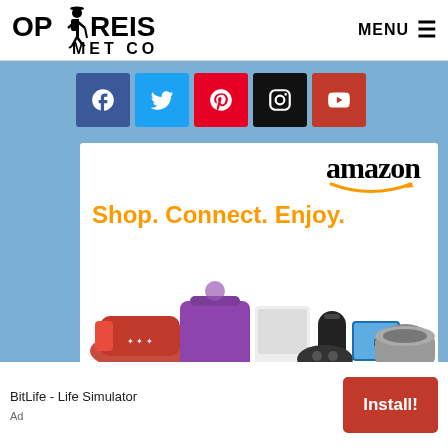[Figure (logo): Op Reis Met Co logo - person with backpack hiking figure, bold black text]
MENU ≡
[Figure (infographic): Social media icons row: Facebook (blue), Twitter (light blue), Pinterest (red), Instagram (black), YouTube (red)]
[Figure (screenshot): Amazon advertisement: 'Shop. Connect. Enjoy.' with products (sneakers, bag, gaming controller, Echo, Kindle Fire, slow cooker). Text: 'All from Earth's biggest selection. Shop now.' and 'Privacy' label.]
BitLife - Life Simulator
[Figure (infographic): Install! button - red button]
Ad